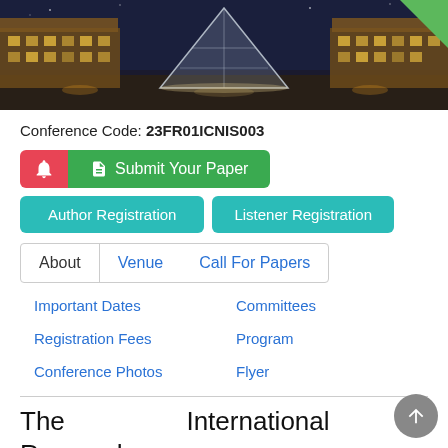[Figure (photo): Night photo of the Louvre Museum in Paris with the glass pyramid illuminated, buildings lit in warm golden light against a dark blue sky. A green triangle decorative corner is in the top-right.]
Conference Code: 23FR01ICNIS003
[Figure (screenshot): UI buttons: red bell icon button, green 'Submit Your Paper' button with document icon, teal 'Author Registration' button, teal 'Listener Registration' button]
[Figure (screenshot): Navigation tab bar with: About (active, outlined), Venue, Call For Papers, Important Dates, Committees, Registration Fees, Program, Conference Photos, Flyer — all links in blue except About]
The International Research Conference Aims and Objectives